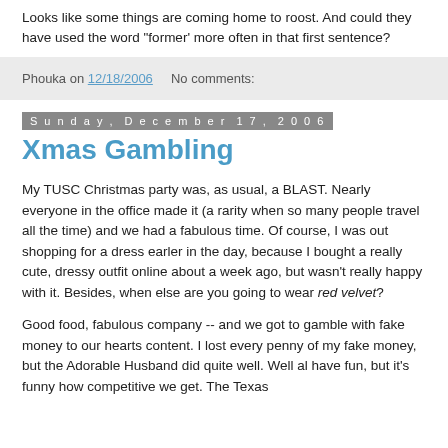Looks like some things are coming home to roost. And could they have used the word "former' more often in that first sentence?
Phouka on 12/18/2006   No comments:
Sunday, December 17, 2006
Xmas Gambling
My TUSC Christmas party was, as usual, a BLAST. Nearly everyone in the office made it (a rarity when so many people travel all the time) and we had a fabulous time. Of course, I was out shopping for a dress earler in the day, because I bought a really cute, dressy outfit online about a week ago, but wasn't really happy with it. Besides, when else are you going to wear red velvet?
Good food, fabulous company -- and we got to gamble with fake money to our hearts content. I lost every penny of my fake money, but the Adorable Husband did quite well. Well al have fun, but it's funny how competitive we get. The Texas